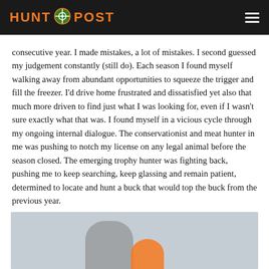HUNT POST
consecutive year. I made mistakes, a lot of mistakes. I second guessed my judgement constantly (still do). Each season I found myself walking away from abundant opportunities to squeeze the trigger and fill the freezer. I'd drive home frustrated and dissatisfied yet also that much more driven to find just what I was looking for, even if I wasn't sure exactly what that was. I found myself in a vicious cycle through my ongoing internal dialogue. The conservationist and meat hunter in me was pushing to notch my license on any legal animal before the season closed. The emerging trophy hunter was fighting back, pushing me to keep searching, keep glassing and remain patient, determined to locate and hunt a buck that would top the buck from the previous year.
[Figure (photo): Bottom of page photo showing a person wearing an orange cap, partially visible]